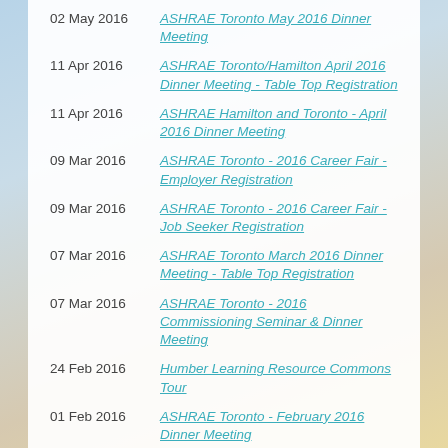02 May 2016 | ASHRAE Toronto May 2016 Dinner Meeting
11 Apr 2016 | ASHRAE Toronto/Hamilton April 2016 Dinner Meeting - Table Top Registration
11 Apr 2016 | ASHRAE Hamilton and Toronto - April 2016 Dinner Meeting
09 Mar 2016 | ASHRAE Toronto - 2016 Career Fair - Employer Registration
09 Mar 2016 | ASHRAE Toronto - 2016 Career Fair - Job Seeker Registration
07 Mar 2016 | ASHRAE Toronto March 2016 Dinner Meeting - Table Top Registration
07 Mar 2016 | ASHRAE Toronto - 2016 Commissioning Seminar & Dinner Meeting
24 Feb 2016 | Humber Learning Resource Commons Tour
01 Feb 2016 | ASHRAE Toronto - February 2016 Dinner Meeting